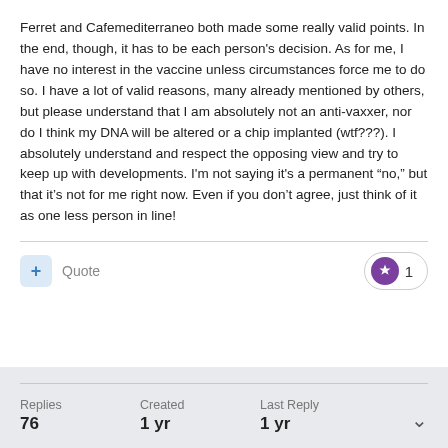Ferret and Cafemediterraneo both made some really valid points. In the end, though, it has to be each person's decision. As for me, I have no interest in the vaccine unless circumstances force me to do so. I have a lot of valid reasons, many already mentioned by others, but please understand that I am absolutely not an anti-vaxxer, nor do I think my DNA will be altered or a chip implanted (wtf???). I absolutely understand and respect the opposing view and try to keep up with developments. I'm not saying it's a permanent "no," but that it's not for me right now. Even if you don't agree, just think of it as one less person in line!
Quote
1
Replies 76
Created 1 yr
Last Reply 1 yr